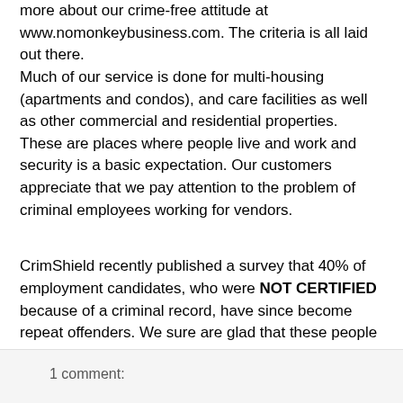more about our crime-free attitude at www.nomonkeybusiness.com. The criteria is all laid out there.
Much of our service is done for multi-housing (apartments and condos), and care facilities as well as other commercial and residential properties. These are places where people live and work and security is a basic expectation. Our customers appreciate that we pay attention to the problem of criminal employees working for vendors.
CrimShield recently published a survey that 40% of employment candidates, who were NOT CERTIFIED because of a criminal record, have since become repeat offenders. We sure are glad that these people were rejected from our employment ranks. I'm sure our customers (Property Managers and Property Maintenance Managers) feel the same.
1 comment: